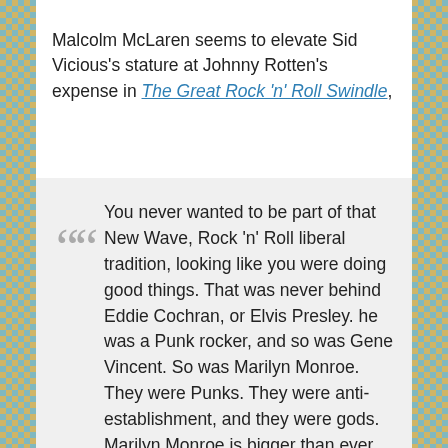Malcolm McLaren seems to elevate Sid Vicious's stature at Johnny Rotten's expense in The Great Rock 'n' Roll Swindle,
You never wanted to be part of that New Wave, Rock 'n' Roll liberal tradition, looking like you were doing good things. That was never behind Eddie Cochran, or Elvis Presley. he was a Punk rocker, and so was Gene Vincent. So was Marilyn Monroe. They were Punks. They were anti-establishment, and they were gods. Marilyn Monroe is bigger than ever, and so is Sid Vicious. I don't see Johnny Rotten on a T-Shirt on the Lower East Side; I see Sid all the bloody time. (quoted